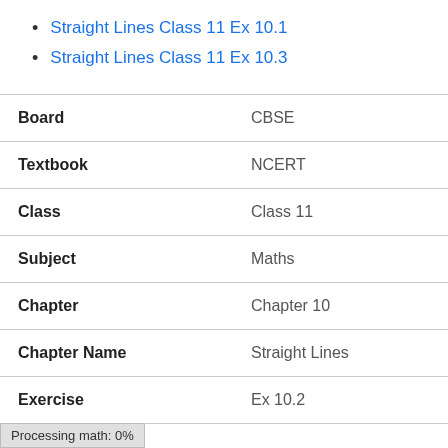Straight Lines Class 11 Ex 10.1
Straight Lines Class 11 Ex 10.3
| Board | CBSE |
| Textbook | NCERT |
| Class | Class 11 |
| Subject | Maths |
| Chapter | Chapter 10 |
| Chapter Name | Straight Lines |
| Exercise | Ex 10.2 |
Processing math: 0%